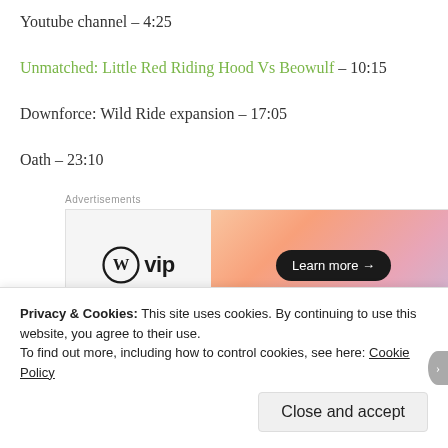Youtube channel – 4:25
Unmatched: Little Red Riding Hood Vs Beowulf – 10:15
Downforce: Wild Ride expansion – 17:05
Oath – 23:10
[Figure (other): WordPress VIP advertisement banner with orange-pink gradient and Learn more button]
Control – 42:40
Privacy & Cookies: This site uses cookies. By continuing to use this website, you agree to their use. To find out more, including how to control cookies, see here: Cookie Policy
Close and accept